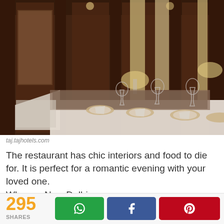[Figure (photo): Interior of an elegant restaurant with dark wood paneling, floral upholstered seating, white tablecloths, fine dining place settings with gold-rimmed plates, wine glasses, and table lamps. Mirrors line the walls.]
taj.tajhotels.com
The restaurant has chic interiors and food to die for. It is perfect for a romantic evening with your loved one. Where – New Delhi Cost for two – INR 9,500
295 SHARES